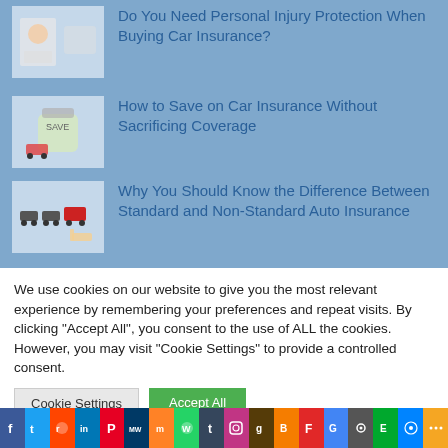Do You Need Personal Injury Protection When Buying Car Insurance?
How to Save on Car Insurance Without Sacrificing Coverage
Why You Should Know the Difference Between Standard and Non-Standard Auto Insurance
We use cookies on our website to give you the most relevant experience by remembering your preferences and repeat visits. By clicking “Accept All”, you consent to the use of ALL the cookies. However, you may visit "Cookie Settings" to provide a controlled consent.
Cookie Settings
Accept All